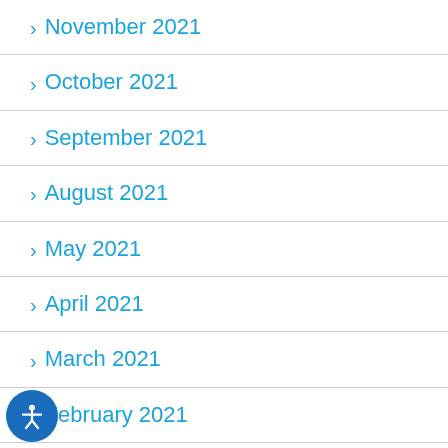> November 2021
> October 2021
> September 2021
> August 2021
> May 2021
> April 2021
> March 2021
> February 2021
> January 2021